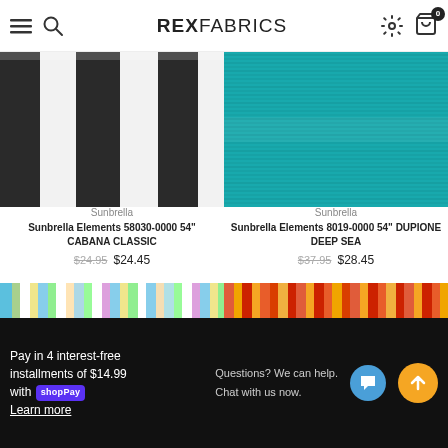REX FABRICS
[Figure (photo): Black and white vertical stripe fabric swatch]
[Figure (photo): Teal/turquoise textured solid fabric swatch (Dupione Deep Sea)]
Sunbrella
Sunbrella Elements 58030-0000 54" CABANA CLASSIC
$24.95  $24.45
Sunbrella
Sunbrella Elements 8019-0000 54" DUPIONE DEEP SEA
$37.95  $28.45
[Figure (photo): Colorful multi-stripe fabric swatch preview (left)]
[Figure (photo): Colorful multi-stripe fabric swatch preview (right, red/orange tones)]
Pay in 4 interest-free installments of $14.99 with Shop Pay. Learn more
Questions? We can help. Chat with us now.